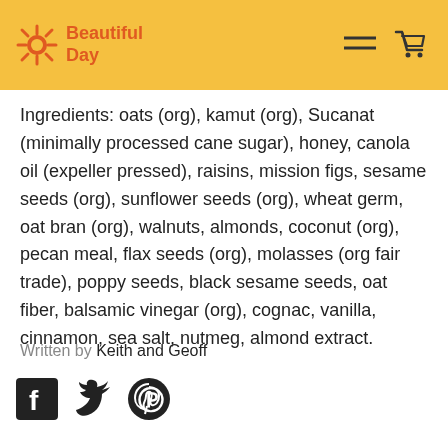Beautiful Day
Ingredients: oats (org), kamut (org), Sucanat (minimally processed cane sugar), honey, canola oil (expeller pressed), raisins, mission figs, sesame seeds (org), sunflower seeds (org), wheat germ, oat bran (org), walnuts, almonds, coconut (org), pecan meal, flax seeds (org), molasses (org fair trade), poppy seeds, black sesame seeds, oat fiber, balsamic vinegar (org), cognac, vanilla, cinnamon, sea salt, nutmeg, almond extract.
Written by Keith and Geoff
[Figure (other): Social media icons: Facebook, Twitter, Pinterest]